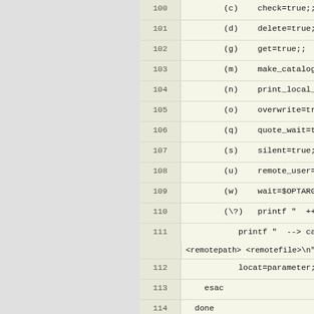[Figure (screenshot): Source code listing showing shell script lines 100-130 with line numbers on the left and code content on the right. Code includes case statement options (c,d,g,m,n,o,q,s,u,w,\?), esac, done, shift OPTIND-1, a comment about KURZE AUFRUFBESCHREIBUNG, an if statement checking $1=?, then block with printf statements for batch_scp help text.]